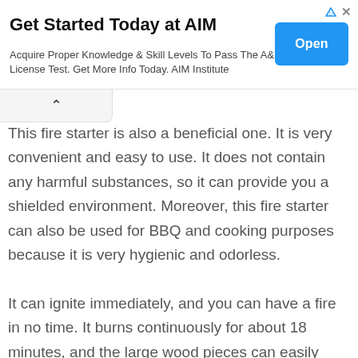[Figure (other): Advertisement banner for AIM Institute with title 'Get Started Today at AIM', body text 'Acquire Proper Knowledge & Skill Levels To Pass The A&P License Test. Get More Info Today. AIM Institute', and a blue 'Open' button. Also includes a small triangle icon and close X icon in the top right.]
This fire starter is also a beneficial one. It is very convenient and easy to use. It does not contain any harmful substances, so it can provide you a shielded environment. Moreover, this fire starter can also be used for BBQ and cooking purposes because it is very hygienic and odorless.

It can ignite immediately, and you can have a fire in no time. It burns continuously for about 18 minutes, and the large wood pieces can easily catch fire.

For camping sites, you can have it with you easily